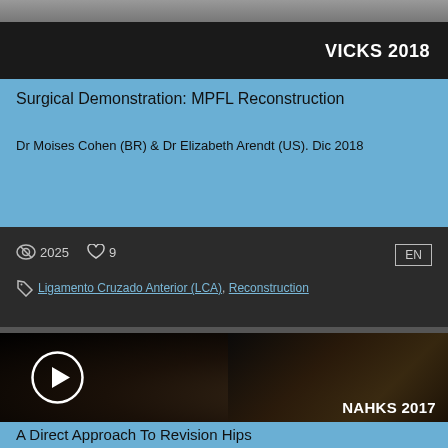[Figure (screenshot): Top partial image strip showing blurred background]
[Figure (screenshot): Black header bar with VICKS 2018 label on right]
Surgical Demonstration: MPFL Reconstruction
Dr Moises Cohen (BR) & Dr Elizabeth Arendt (US). Dic 2018
2025  9  EN  Ligamento Cruzado Anterior (LCA), Reconstruction
[Figure (photo): Dark video thumbnail showing a man in a white shirt with a play button overlay and NAHKS 2017 label in the lower right]
A Direct Approach To Revision Hips